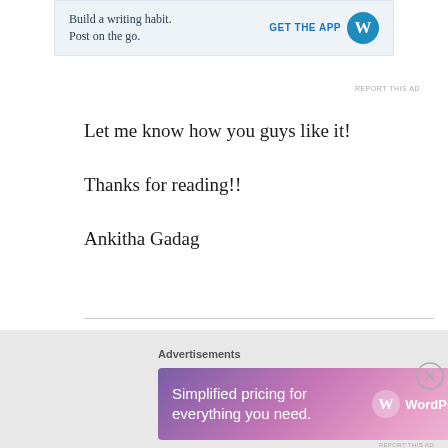[Figure (screenshot): WordPress advertisement banner: 'Build a writing habit. Post on the go.' with GET THE APP button and WordPress logo]
REPORT THIS AD
Let me know how you guys like it!
Thanks for reading!!
Ankitha Gadag
Share this:
[Figure (screenshot): WordPress advertisement: 'Simplified pricing for everything you need.' with WordPress.com logo on gradient purple-pink background]
Advertisements
REPORT THIS AD